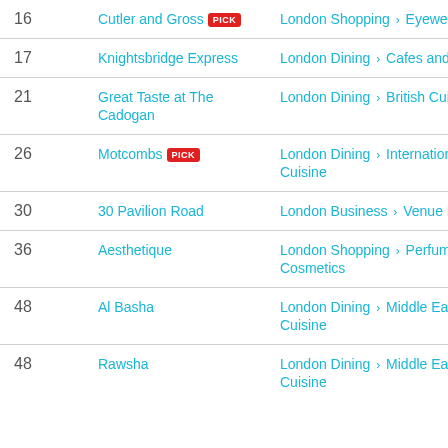| # | Name | Category |
| --- | --- | --- |
| 16 | Cutler and Gross [PICK] | London Shopping › Eyewear |
| 17 | Knightsbridge Express | London Dining › Cafes and Delis |
| 21 | Great Taste at The Cadogan | London Dining › British Cuisine |
| 26 | Motcombs [PICK] | London Dining › International Cuisine |
| 30 | 30 Pavilion Road | London Business › Venue Hire |
| 36 | Aesthetique | London Shopping › Perfume and Cosmetics |
| 48 | Al Basha | London Dining › Middle Eastern Cuisine |
| 48 | Rawsha | London Dining › Middle Eastern Cuisine |